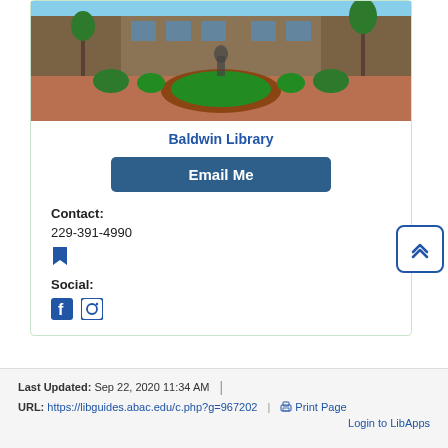[Figure (photo): Exterior photo of Baldwin Library building with landscaping, circular garden bed, trees and brick pathway]
Baldwin Library
Email Me
Contact:
229-391-4990
[Figure (illustration): Bookmark icon in blue]
Social:
[Figure (illustration): Facebook and Instagram social media icons in blue]
Last Updated: Sep 22, 2020 11:34 AM | URL: https://libguides.abac.edu/c.php?g=967202 | Print Page | Login to LibApps